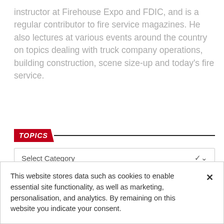instructor at Firehouse Expo and FDIC, and is a regular contributor to fire service magazines. He also lectures at various events around the country on topics dealing with truck company operations, building construction, scene size-up and today’s fire service.
TOPICS
Select Category
This website stores data such as cookies to enable essential site functionality, as well as marketing, personalisation, and analytics. By remaining on this website you indicate your consent.